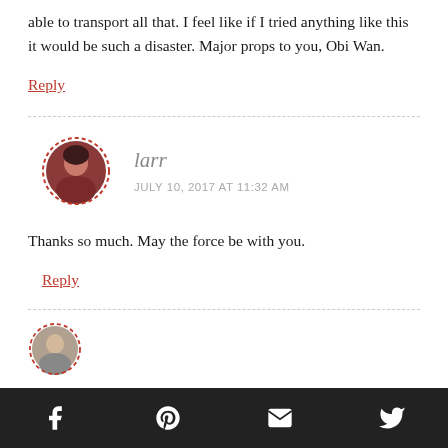able to transport all that. I feel like if I tried anything like this it would be such a disaster. Major props to you, Obi Wan.
Reply
[Figure (photo): Circular avatar photo of commenter 'larr', a woman with dark hair, dashed red border circle]
larr
JULY 10, 2017 AT 11:32 AM
Thanks so much. May the force be with you.
Reply
[Figure (photo): Partial circular avatar of next commenter, dashed border, partially visible at bottom]
Facebook Pinterest Email Twitter social share bar